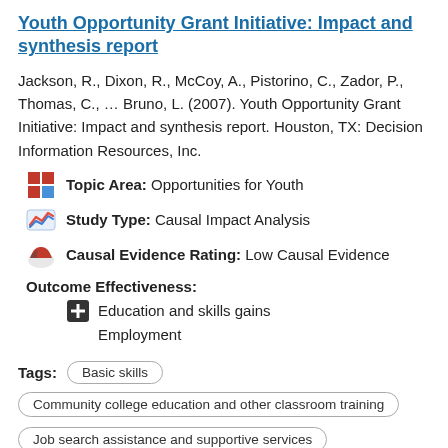Youth Opportunity Grant Initiative: Impact and synthesis report
Jackson, R., Dixon, R., McCoy, A., Pistorino, C., Zador, P., Thomas, C., … Bruno, L. (2007). Youth Opportunity Grant Initiative: Impact and synthesis report. Houston, TX: Decision Information Resources, Inc.
Topic Area: Opportunities for Youth
Study Type: Causal Impact Analysis
Causal Evidence Rating: Low Causal Evidence
Outcome Effectiveness:
Education and skills gains
Employment
Tags: Basic skills
Community college education and other classroom training
Job search assistance and supportive services